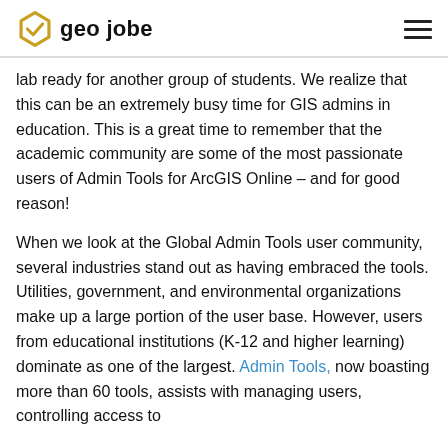geo jobe
lab ready for another group of students. We realize that this can be an extremely busy time for GIS admins in education. This is a great time to remember that the academic community are some of the most passionate users of Admin Tools for ArcGIS Online – and for good reason!

When we look at the Global Admin Tools user community, several industries stand out as having embraced the tools. Utilities, government, and environmental organizations make up a large portion of the user base. However, users from educational institutions (K-12 and higher learning) dominate as one of the largest. Admin Tools, now boasting more than 60 tools, assists with managing users, controlling access to